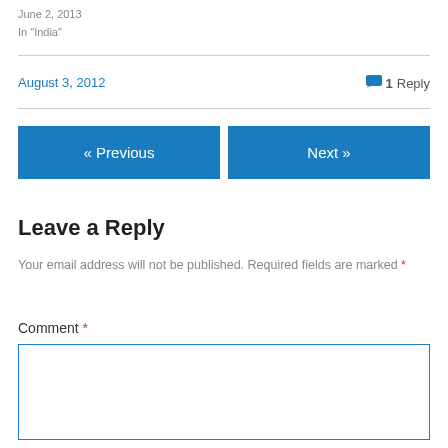June 2, 2013
In "India"
August 3, 2012
1 Reply
« Previous
Next »
Leave a Reply
Your email address will not be published. Required fields are marked *
Comment *